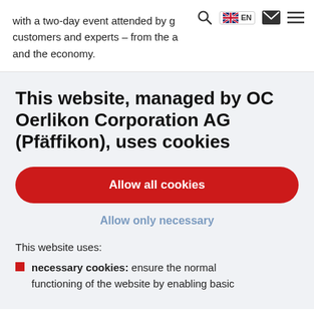with a two-day event attended by g customers and experts – from the a and the economy.
[Figure (screenshot): Navigation icons: search magnifier, UK flag with EN label, mail envelope, hamburger menu]
This website, managed by OC Oerlikon Corporation AG (Pfäffikon), uses cookies
Allow all cookies
Allow only necessary
This website uses:
necessary cookies: ensure the normal functioning of the website by enabling basic